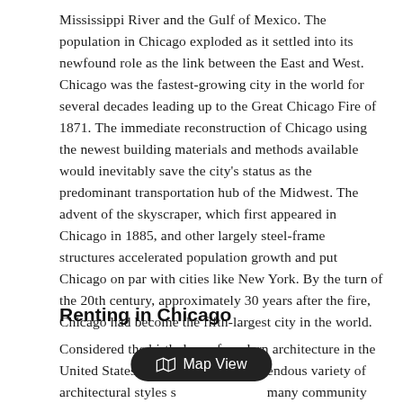Mississippi River and the Gulf of Mexico. The population in Chicago exploded as it settled into its newfound role as the link between the East and West. Chicago was the fastest-growing city in the world for several decades leading up to the Great Chicago Fire of 1871. The immediate reconstruction of Chicago using the newest building materials and methods available would inevitably save the city's status as the predominant transportation hub of the Midwest. The advent of the skyscraper, which first appeared in Chicago in 1885, and other largely steel-frame structures accelerated population growth and put Chicago on par with cities like New York. By the turn of the 20th century, approximately 30 years after the fire, Chicago had become the fifth-largest city in the world.
Renting in Chicago
Considered the birthplace of modern architecture in the United States, Chicago offers a tremendous variety of architectural styles s… many community areas and neighborhoods. Rated the second-most beautiful city in the world in 2021 and voted the best b…